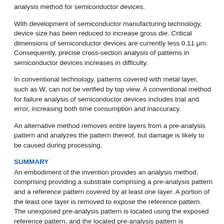analysis method for semiconductor devices.
With development of semiconductor manufacturing technology, device size has been reduced to increase gross die. Critical dimensions of semiconductor devices are currently less 0.11 μm. Consequently, precise cross-section analysis of patterns in semiconductor devices increases in difficulty.
In conventional technology, patterns covered with metal layer, such as W, can not be verified by top view. A conventional method for failure analysis of semiconductor devices includes trial and error, increasing both time consumption and inaccuracy.
An alternative method removes entire layers from a pre-analysis pattern and analyzes the pattern thereof, but damage is likely to be caused during processing.
SUMMARY
An embodiment of the invention provides an analysis method, comprising providing a substrate comprising a pre-analysis pattern and a reference pattern covered by at least one layer. A portion of the least one layer is removed to expose the reference pattern. The unexposed pre-analysis pattern is located using the exposed reference pattern, and the located pre-analysis pattern is subsequently analyzed.